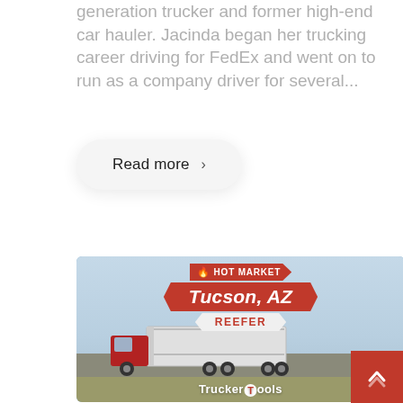generation trucker and former high-end car hauler. Jacinda began her trucking career driving for FedEx and went on to run as a company driver for several...
Read more >
[Figure (advertisement): TruckerTools advertisement banner showing a red semi truck with reefer trailer on a highway. Overlay badges read 'HOT MARKET', 'Tucson, AZ', 'REEFER'. TruckerTools logo at bottom.]